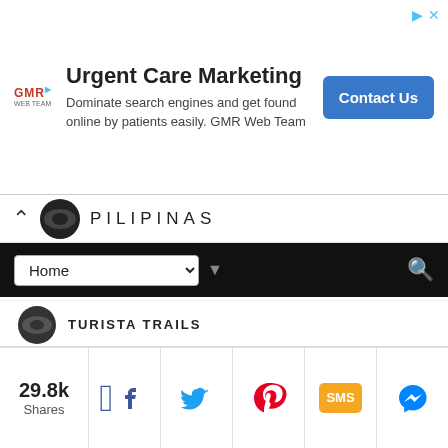[Figure (screenshot): Advertisement banner for Urgent Care Marketing by GMR Web Team with Contact Us button]
[Figure (screenshot): Website navigation bar showing Pilipinas logo and site name]
[Figure (screenshot): Black navigation bar with Home dropdown and search icon]
Salamat Elly, may may kaunting Baguio tourist spots na wala pa dyan, but I will always be updating this post for those :)
[Figure (screenshot): Reply button (grey)]
[Figure (screenshot): Turista Trails logo at bottom]
[Figure (screenshot): Social share bar with 29.8k shares, Facebook, Twitter, Pinterest, SMS, Messenger buttons]